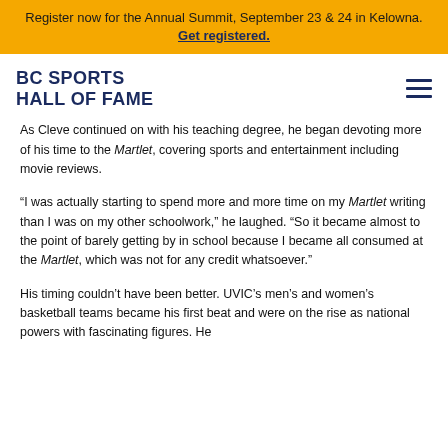Register now for the Annual Summit, September 23 & 24 in Kelowna. Get registered.
BC SPORTS HALL OF FAME
As Cleve continued on with his teaching degree, he began devoting more of his time to the Martlet, covering sports and entertainment including movie reviews.
“I was actually starting to spend more and more time on my Martlet writing than I was on my other schoolwork,” he laughed. “So it became almost to the point of barely getting by in school because I became all consumed at the Martlet, which was not for any credit whatsoever.”
His timing couldn’t have been better. UVIC’s men’s and women’s basketball teams became his first beat and were on the rise as national powers with fascinating figures. He